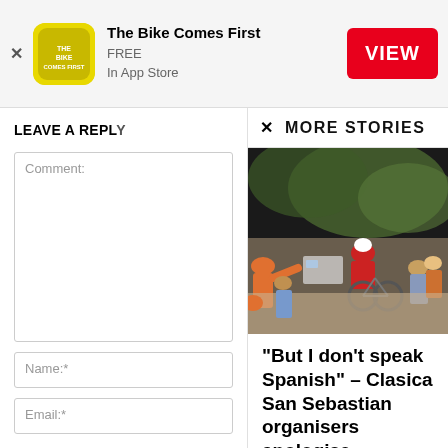[Figure (infographic): App store banner: The Bike Comes First app icon (yellow/gold), app name, FREE In App Store text, and red VIEW button]
LEAVE A REPLY
Comment:
Name:*
Email:*
MORE STORIES
[Figure (photo): Cycling race photo showing a cyclist in red jersey riding up a mountain road surrounded by spectators]
“But I don’t speak Spanish” – Clasica San Sebastian organisers apologise…
TBCF - Aug 11, 2015
0